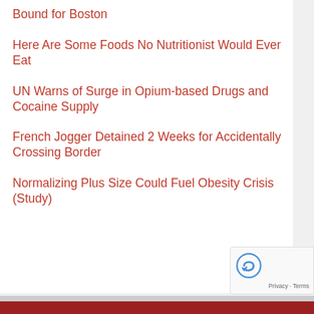Bound for Boston
Here Are Some Foods No Nutritionist Would Ever Eat
UN Warns of Surge in Opium-based Drugs and Cocaine Supply
French Jogger Detained 2 Weeks for Accidentally Crossing Border
Normalizing Plus Size Could Fuel Obesity Crisis (Study)